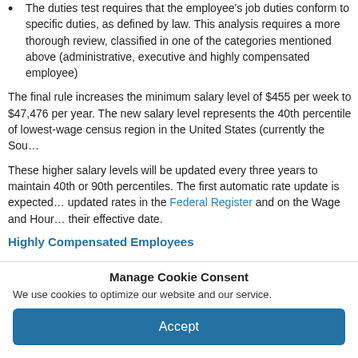The duties test requires that the employee's job duties conform to specific duties, as defined by law. This analysis requires a more thorough review, classified in one of the categories mentioned above (administrative, executive and highly compensated employee)
The final rule increases the minimum salary level of $455 per week to $47,476 per year. The new salary level represents the 40th percentile of lowest-wage census region in the United States (currently the Sou…
These higher salary levels will be updated every three years to maintain 40th or 90th percentiles. The first automatic rate update is expected… updated rates in the Federal Register and on the Wage and Hour… their effective date.
Highly Compensated Employees
Manage Cookie Consent
We use cookies to optimize our website and our service.
Accept